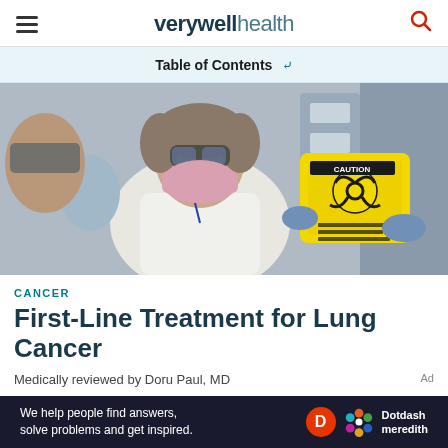verywell health
Table of Contents
[Figure (photo): Healthcare worker in lab coat, face mask and safety goggles holding a yellow biohazard warning label in a laboratory setting]
CANCER
First-Line Treatment for Lung Cancer
Medically reviewed by Doru Paul, MD
We help people find answers, solve problems and get inspired. Dotdash meredith